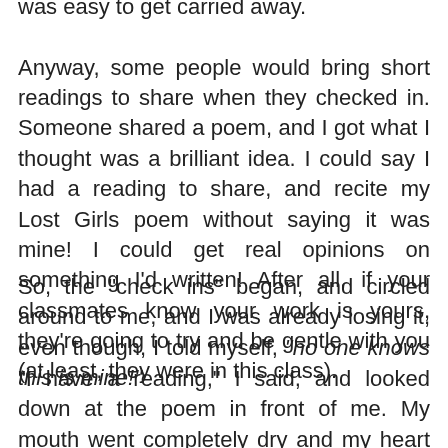was easy to get carried away. Anyway, some people would bring short readings to share when they checked in. Someone shared a poem, and I got what I thought was a brilliant idea. I could say I had a reading to share, and recite my Lost Girls poem without saying it was mine! I could get real opinions on something I'd written! After all, if your classmates know your work is yours, they're going to try and be gentle with you (at least, they were in this class).
So, the "check ins" began, and circled around to me, and I was already losing it, even though, I told myself, "no one knows this is mine!"
"I have a reading," I said, and looked down at the poem in front of me. My mouth went completely dry and my heart was pounding loud enough for the whole room to hear, and somehow I did not fall